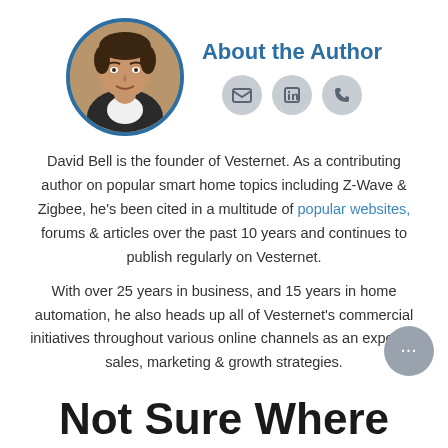[Figure (photo): Circular profile photo of David Bell with blue border, and social icons (email, LinkedIn, phone) beside a heading 'About the Author']
About the Author
David Bell is the founder of Vesternet. As a contributing author on popular smart home topics including Z-Wave & Zigbee, he's been cited in a multitude of popular websites, forums & articles over the past 10 years and continues to publish regularly on Vesternet.
With over 25 years in business, and 15 years in home automation, he also heads up all of Vesternet's commercial initiatives throughout various online channels as an expert in sales, marketing & growth strategies.
Not Sure Where